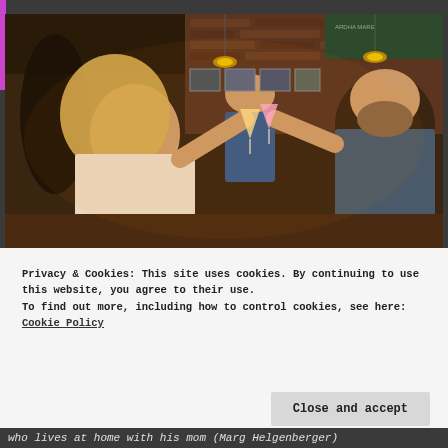[Figure (photo): A scene inside a bar/restaurant with brick walls. A blonde woman on the left clinks glasses with a bearded man on the right, while a young man in a blue shirt stands in the background watching.]
Privacy & Cookies: This site uses cookies. By continuing to use this website, you agree to their use.
To find out more, including how to control cookies, see here: Cookie Policy
Close and accept
who lives at home with his mom (Marg Helgenberger)